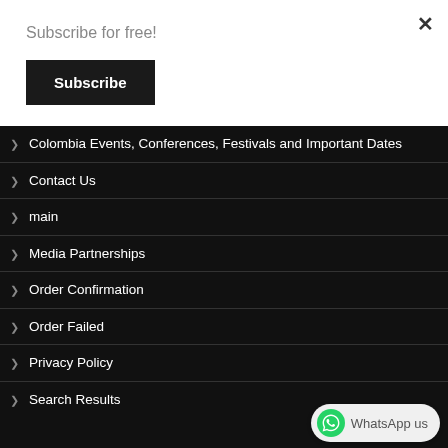Subscribe for free!
Subscribe
Colombia Events, Conferences, Festivals and Important Dates
Contact Us
main
Media Partnerships
Order Confirmation
Order Failed
Privacy Policy
Search Results
WhatsApp us